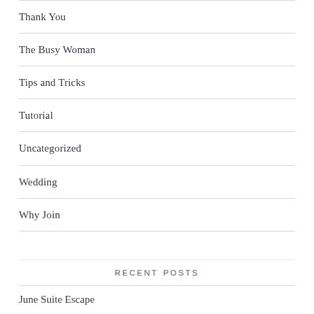Thank You
The Busy Woman
Tips and Tricks
Tutorial
Uncategorized
Wedding
Why Join
RECENT POSTS
June Suite Escape